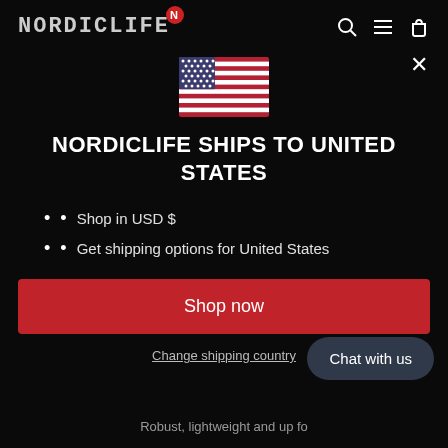NORDICLIFE (logo with N badge)
[Figure (illustration): US flag emoji/icon centered on the page]
NORDICLIFE SHIPS TO UNITED STATES
Shop in USD $
Get shipping options for United States
Shop now
Change shipping country
Chat with us
Robust, lightweight and up fo...